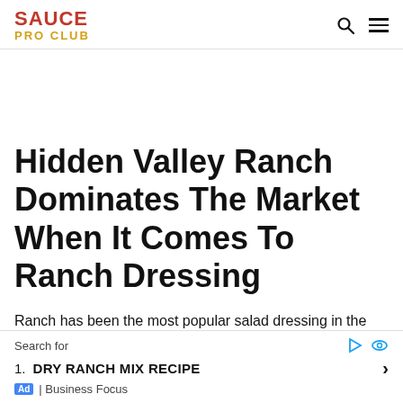SAUCE PRO CLUB
Hidden Valley Ranch Dominates The Market When It Comes To Ranch Dressing
Ranch has been the most popular salad dressing in the United
Search for | DRY RANCH MIX RECIPE | Ad | Business Focus